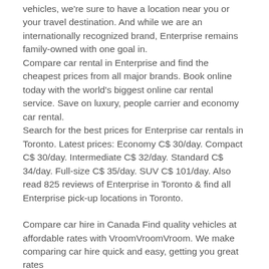vehicles, we're sure to have a location near you or your travel destination. And while we are an internationally recognized brand, Enterprise remains family-owned with one goal in.
Compare car rental in Enterprise and find the cheapest prices from all major brands. Book online today with the world's biggest online car rental service. Save on luxury, people carrier and economy car rental.
Search for the best prices for Enterprise car rentals in Toronto. Latest prices: Economy C$ 30/day. Compact C$ 30/day. Intermediate C$ 32/day. Standard C$ 34/day. Full-size C$ 35/day. SUV C$ 101/day. Also read 825 reviews of Enterprise in Toronto & find all Enterprise pick-up locations in Toronto.
Compare car hire in Canada Find quality vehicles at affordable rates with VroomVroomVroom. We make comparing car hire quick and easy, getting you great rates